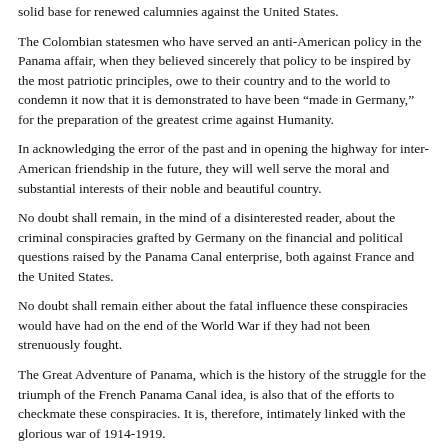solid base for renewed calumnies against the United States.
The Colombian statesmen who have served an anti-American policy in the Panama affair, when they believed sincerely that policy to be inspired by the most patriotic principles, owe to their country and to the world to condemn it now that it is demonstrated to have been "made in Germany," for the preparation of the greatest crime against Humanity.
In acknowledging the error of the past and in opening the highway for inter-American friendship in the future, they will well serve the moral and substantial interests of their noble and beautiful country.
No doubt shall remain, in the mind of a disinterested reader, about the criminal conspiracies grafted by Germany on the financial and political questions raised by the Panama Canal enterprise, both against France and the United States.
No doubt shall remain either about the fatal influence these conspiracies would have had on the end of the World War if they had not been strenuously fought.
The Great Adventure of Panama, which is the history of the struggle for the triumph of the French Panama Canal idea, is also that of the efforts to checkmate these conspiracies. It is, therefore, intimately linked with the glorious war of 1914-1919.